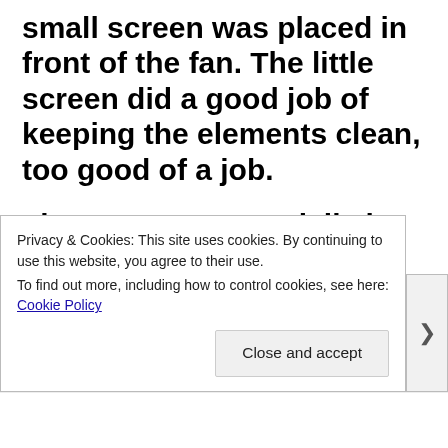small screen was placed in front of the fan. The little screen did a good job of keeping the elements clean, too good of a job.
The screens, especially in dusty areas or homes with pets became plugged very quickly. Even with the label on the side stating, “clean the heater fins every month,” these screens and heaters got neglected
Privacy & Cookies: This site uses cookies. By continuing to use this website, you agree to their use.
To find out more, including how to control cookies, see here: Cookie Policy
Close and accept